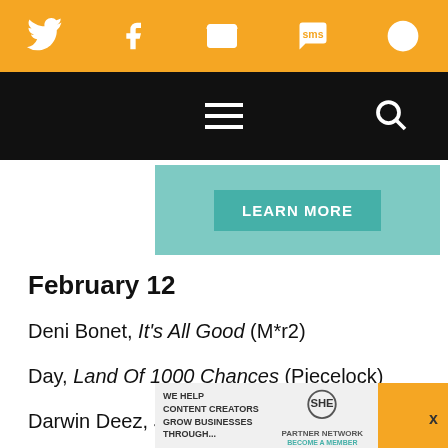[Figure (infographic): Orange social media sharing bar with icons: Twitter, Facebook, Email, SMS, and a circular arrow/share icon]
[Figure (infographic): Black navigation bar with hamburger menu icon and search icon]
[Figure (infographic): Teal/mint colored advertisement banner with a green 'LEARN MORE' button]
February 12
Deni Bonet, It's All Good (M*r2)
Day, Land Of 1000 Chances (Piecelock)
Darwin Deez, Songs for Imaginative People (Lucky...
[Figure (infographic): Bottom advertisement banner for SHE Media Partner Network with 'LEARN MORE' button and partial orange block]